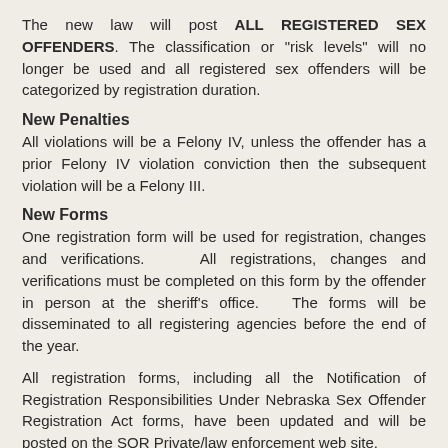The new law will post ALL REGISTERED SEX OFFENDERS. The classification or "risk levels" will no longer be used and all registered sex offenders will be categorized by registration duration.
New Penalties
All violations will be a Felony IV, unless the offender has a prior Felony IV violation conviction then the subsequent violation will be a Felony III.
New Forms
One registration form will be used for registration, changes and verifications.   All registrations, changes and verifications must be completed on this form by the offender in person at the sheriff's office.  The forms will be disseminated to all registering agencies before the end of the year.
All registration forms, including all the Notification of Registration Responsibilities Under Nebraska Sex Offender Registration Act forms, have been updated and will be posted on the SOR Private/law enforcement web site.